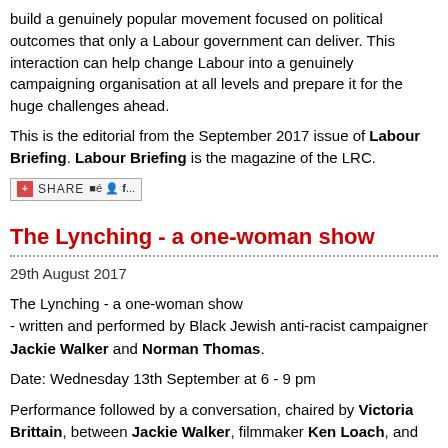build a genuinely popular movement focused on political outcomes that only a Labour government can deliver. This interaction can help change Labour into a genuinely campaigning organisation at all levels and prepare it for the huge challenges ahead.
This is the editorial from the September 2017 issue of Labour Briefing. Labour Briefing is the magazine of the LRC.
[Figure (other): Share bar with social media icons including del.icio.us and Facebook]
The Lynching - a one-woman show
29th August 2017
The Lynching - a one-woman show
- written and performed by Black Jewish anti-racist campaigner Jackie Walker and Norman Thomas.
Date: Wednesday 13th September at 6 - 9 pm
Performance followed by a conversation, chaired by Victoria Brittain, between Jackie Walker, filmmaker Ken Loach, and Prof. Jonathan Rosenhead (Free Speech on Israel, Chair of Hoxton West Labour Party branch)
Suspended from the Labour Party and vilified with fake accusations of antisemitism, Jackie Walker tells the story of her extraordinary activist parents and her own struggles fighting different forms of racism in the US and UK. This is an opportunity to hear first hand from someone who has been hounded relentlessly in the media.